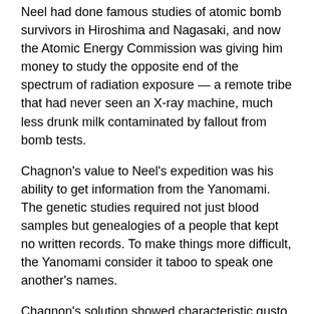Neel had done famous studies of atomic bomb survivors in Hiroshima and Nagasaki, and now the Atomic Energy Commission was giving him money to study the opposite end of the spectrum of radiation exposure — a remote tribe that had never seen an X-ray machine, much less drunk milk contaminated by fallout from bomb tests.
Chagnon's value to Neel's expedition was his ability to get information from the Yanomami. The genetic studies required not just blood samples but genealogies of a people that kept no written records. To make things more difficult, the Yanomami consider it taboo to speak one another's names.
Chagnon's solution showed characteristic gusto. He visited neighbors who were on bad terms with the group he was interested in, and got the genealogical information from them. Then he confirmed it by going back to the people he was studying and telling them the names he had collected. When they got belligerent, he figured he had good information.
NEEL'S MOTIVATION